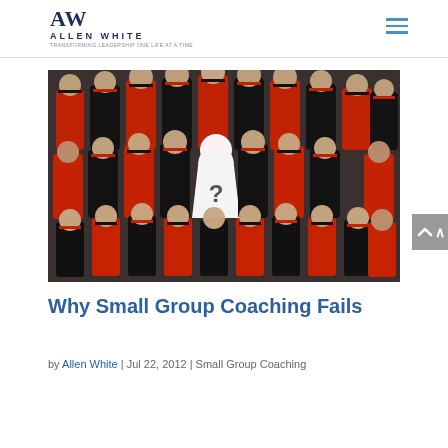Allen White
[Figure (photo): Team photo of AFL football players wearing red and black Essendon Bombers uniforms, posed in rows. A white silhouette with a question mark is overlaid on one player in the middle of the group.]
Why Small Group Coaching Fails
by Allen White | Jul 22, 2012 | Small Group Coaching